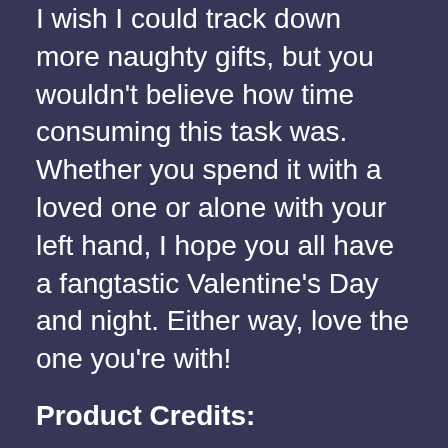I wish I could track down more naughty gifts, but you wouldn't believe how time consuming this task was. Whether you spend it with a loved one or alone with your left hand, I hope you all have a fangtastic Valentine's Day and night. Either way, love the one you're with!
Product Credits:
Tru: A XXX Parody DVD: CD Universe, accessed Feb. 8, 2017, http://www.cduniverse.com/productinfo.asp?pid=8152808.
Sex in a Can: Vampire Succu Dry: